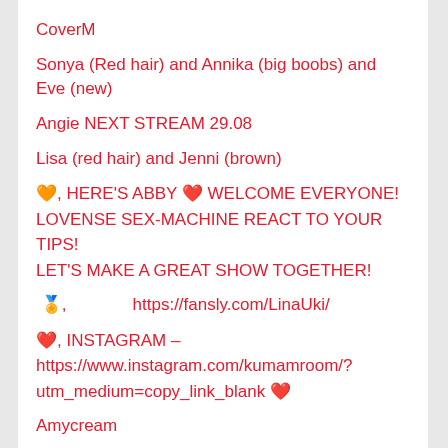CoverM
Sonya (Red hair) and Annika (big boobs) and Eve (new)
Angie NEXT STREAM 29.08
Lisa (red hair) and Jenni (brown)
🧡, HERE'S ABBY ❤️ WELCOME EVERYONE! LOVENSE SEX-MACHINE REACT TO YOUR TIPS! LET'S MAKE A GREAT SHOW TOGETHER!
🏅, https://fansly.com/LinaUki/
❤️, INSTAGRAM – https://www.instagram.com/kumamroom/?utm_medium=copy_link_blank ❤️
Amycream
onlyfans.com/pizza_biceps